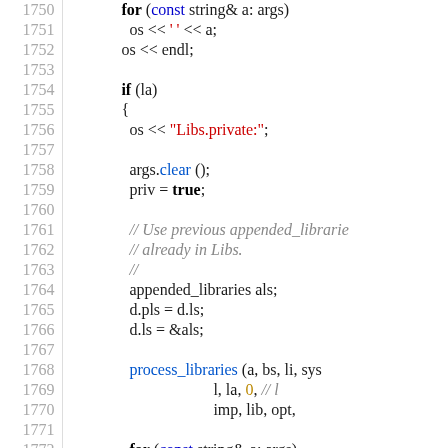[Figure (screenshot): Source code listing showing C++ code lines 1750-1779, with syntax highlighting: keywords in bold black, blue keywords, red strings, grey italic comments, blue function names, and yellow numeric literals. Line numbers displayed in grey on the left.]